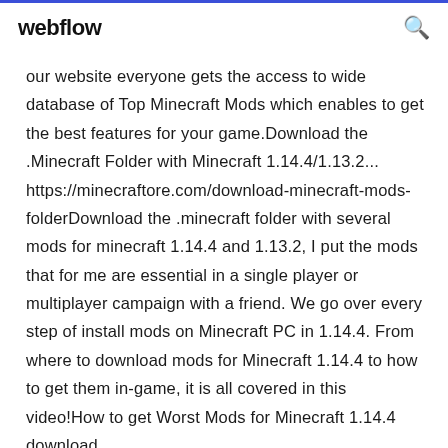webflow
our website everyone gets the access to wide database of Top Minecraft Mods which enables to get the best features for your game.Download the .Minecraft Folder with Minecraft 1.14.4/1.13.2... https://minecraftore.com/download-minecraft-mods-folderDownload the .minecraft folder with several mods for minecraft 1.14.4 and 1.13.2, I put the mods that for me are essential in a single player or multiplayer campaign with a friend. We go over every step of install mods on Minecraft PC in 1.14.4. From where to download mods for Minecraft 1.14.4 to how to get them in-game, it is all covered in this video!How to get Worst Mods for Minecraft 1.14.4 download...